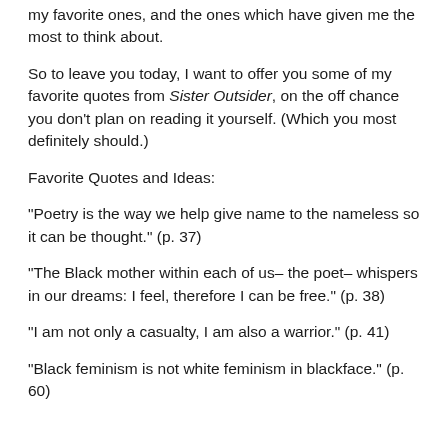my favorite ones, and the ones which have given me the most to think about.
So to leave you today, I want to offer you some of my favorite quotes from Sister Outsider, on the off chance you don't plan on reading it yourself. (Which you most definitely should.)
Favorite Quotes and Ideas:
“Poetry is the way we help give name to the nameless so it can be thought.” (p. 37)
“The Black mother within each of us– the poet– whispers in our dreams: I feel, therefore I can be free.” (p. 38)
“I am not only a casualty, I am also a warrior.” (p. 41)
“Black feminism is not white feminism in blackface.” (p. 60)